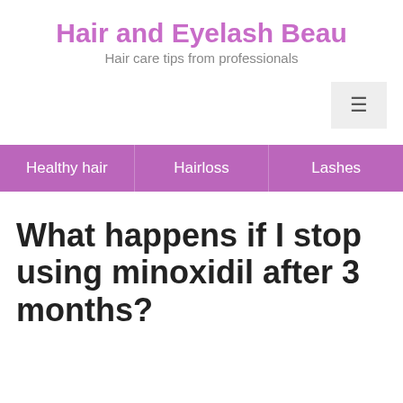Hair and Eyelash Beau…
Hair care tips from professionals
[Figure (other): Hamburger menu button icon]
Healthy hair | Hairloss | Lashes
What happens if I stop using minoxidil after 3 months?